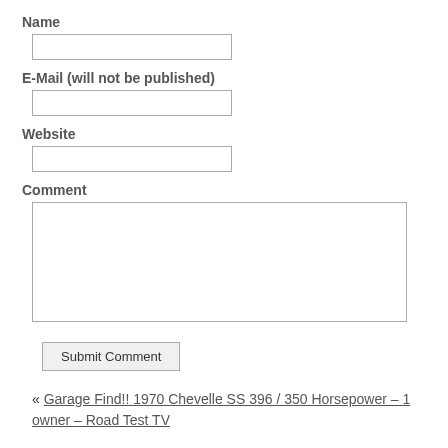Name
E-Mail (will not be published)
Website
Comment
Submit Comment
« Garage Find!! 1970 Chevelle SS 396 / 350 Horsepower – 1 owner – Road Test TV